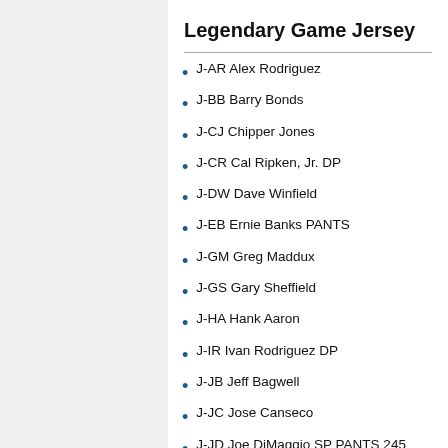Legendary Game Jersey
J-AR Alex Rodriguez
J-BB Barry Bonds
J-CJ Chipper Jones
J-CR Cal Ripken, Jr. DP
J-DW Dave Winfield
J-EB Ernie Banks PANTS
J-GM Greg Maddux
J-GS Gary Sheffield
J-HA Hank Aaron
J-IR Ivan Rodriguez DP
J-JB Jeff Bagwell
J-JC Jose Canseco
J-JD Joe DiMaggio SP PANTS 245
J-KG Ken Griffey, Jr.
J-KS Kazuhiro Sasaki